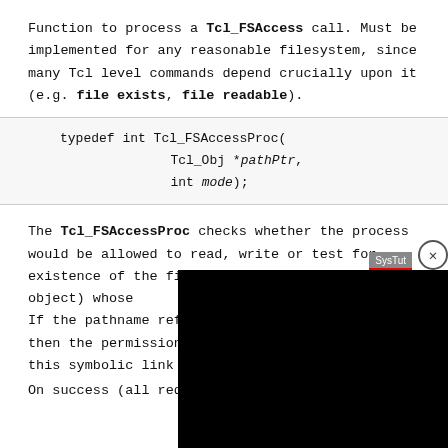Function to process a Tcl_FSAccess call. Must be implemented for any reasonable filesystem, since many Tcl level commands depend crucially upon it (e.g. file exists, file readable).
The Tcl_FSAccessProc checks whether the process would be allowed to read, write or test for existence of the file (or other filesystem object) whose ... If the pathname refers t... then the permissions of ... this symbolic link shoul...
On success (all requests...